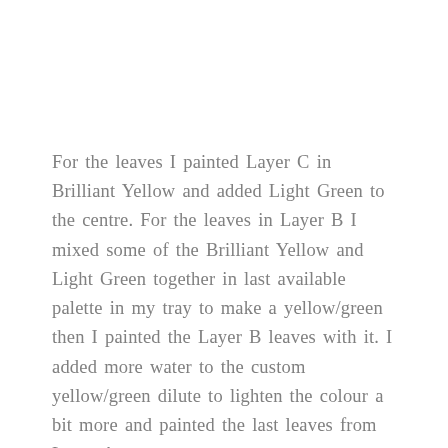For the leaves I painted Layer C in Brilliant Yellow and added Light Green to the centre. For the leaves in Layer B I mixed some of the Brilliant Yellow and Light Green together in last available palette in my tray to make a yellow/green then I painted the Layer B leaves with it. I added more water to the custom yellow/green dilute to lighten the colour a bit more and painted the last leaves from Layer A.